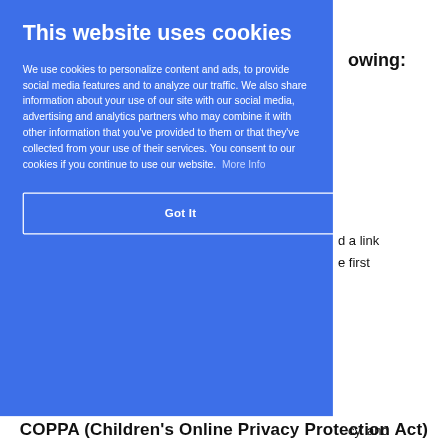[Figure (screenshot): Cookie consent overlay dialog with blue background, showing 'This website uses cookies' title, explanatory text about cookie usage, a 'More Info' link, and a 'Got It' button. Behind the overlay, partial text from a document is visible on the right side including fragments like 'owing:', 'd a link', 'e first', 'cy' and', 've.', 'nals?', 'ack,', 'ot Track', 'w third-', and at the bottom a partial heading about COPPA.]
This website uses cookies
We use cookies to personalize content and ads, to provide social media features and to analyze our traffic. We also share information about your use of our site with our social media, advertising and analytics partners who may combine it with other information that you've provided to them or that they've collected from your use of their services. You consent to our cookies if you continue to use our website. More Info